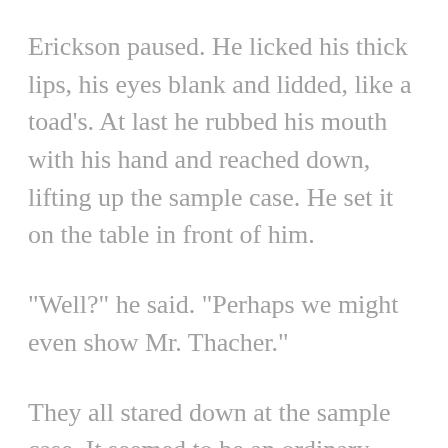Erickson paused. He licked his thick lips, his eyes blank and lidded, like a toad's. At last he rubbed his mouth with his hand and reached down, lifting up the sample case. He set it on the table in front of him.
"Well?" he said. "Perhaps we might even show Mr. Thacher."
They all stared down at the sample case. It seemed to be an ordinary leather case, with a metal handle and a snap lock. "I'm getting